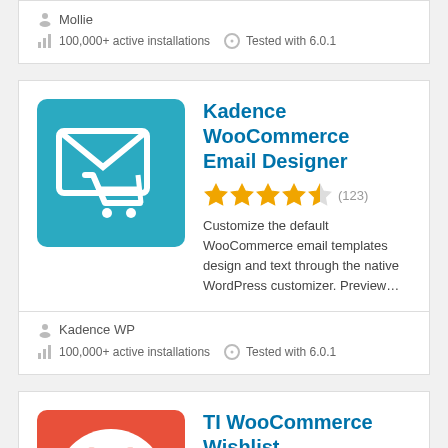Mollie
100,000+ active installations   Tested with 6.0.1
Kadence WooCommerce Email Designer
★★★★½ (123)
Customize the default WooCommerce email templates design and text through the native WordPress customizer. Preview...
Kadence WP
100,000+ active installations   Tested with 6.0.1
TI WooCommerce Wishlist
★★★★½ (286)
Add WooCommerce Wishlist functionality to your store for free.